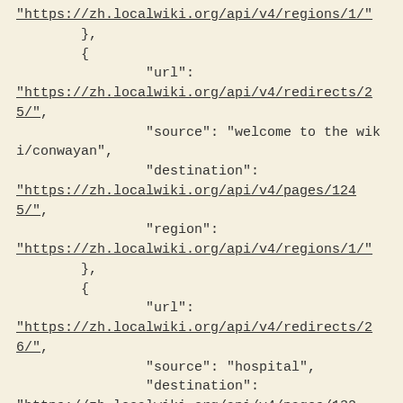"https://zh.localwiki.org/api/v4/regions/1/"
        },
        {
                "url":
"https://zh.localwiki.org/api/v4/redirects/25/",
                "source": "welcome to the wiki/conwayan",
                "destination":
"https://zh.localwiki.org/api/v4/pages/1245/",
                "region":
"https://zh.localwiki.org/api/v4/regions/1/"
        },
        {
                "url":
"https://zh.localwiki.org/api/v4/redirects/26/",
                "source": "hospital",
                "destination":
"https://zh.localwiki.org/api/v4/pages/1325/",
                "region":
"https://zh.localwiki.org/api/v4/regions/1/"
        },
        {
                "url":